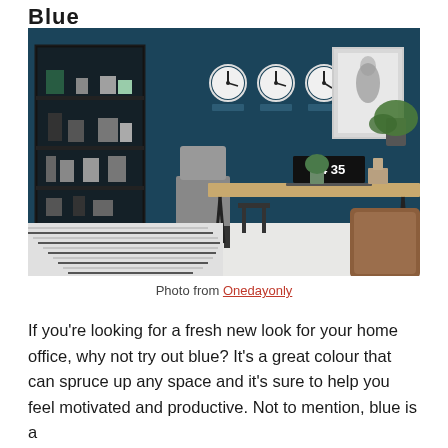Blue
[Figure (photo): A stylish home office with deep blue walls, a wooden desk with hairpin legs, a brown leather chair, a laptop showing 14:35, shelving unit with decor, three wall clocks, plants, and a geometric black and white rug on a white floor.]
Photo from Onedayonly
If you're looking for a fresh new look for your home office, why not try out blue? It's a great colour that can spruce up any space and it's sure to help you feel motivated and productive. Not to mention, blue is a